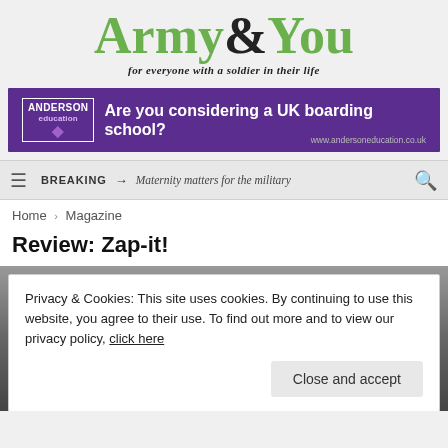[Figure (logo): Army&You magazine logo with green serif text and ampersand, tagline 'for everyone with a soldier in their life']
[Figure (infographic): Purple advertisement banner for Anderson Education: 'Are you considering a UK boarding school?' with URL www.andersoneducation.co.uk]
BREAKING → Maternity matters for the military
Home > Magazine
Review: Zap-it!
[Figure (photo): Partial photograph visible behind cookie consent overlay, dark toned image]
Privacy & Cookies: This site uses cookies. By continuing to use this website, you agree to their use. To find out more and to view our privacy policy, click here
Close and accept